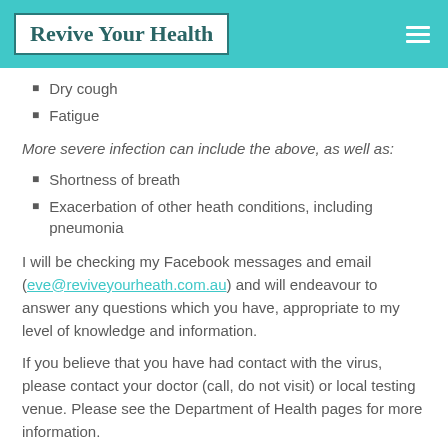Revive Your Health
Dry cough
Fatigue
More severe infection can include the above, as well as:
Shortness of breath
Exacerbation of other heath conditions, including pneumonia
I will be checking my Facebook messages and email (eve@reviveyourheath.com.au) and will endeavour to answer any questions which you have, appropriate to my level of knowledge and information.
If you believe that you have had contact with the virus, please contact your doctor (call, do not visit) or local testing venue. Please see the Department of Health pages for more information.
https://www.dhhs.vic.gov.au/coronavirus